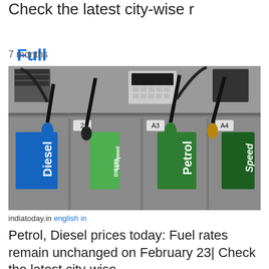Check the latest city-wise r
Full Article
7 months
[Figure (photo): Photograph of fuel pump dispensers at a petrol station in India, showing labels for Diesel, HI-Speed Diesel, Petrol, and Speed petrol, with nozzles coloured blue, black, green, gold/yellow, with section labels A2, A3, A4]
indiatoday.in english in
Petrol, Diesel prices today: Fuel rates remain unchanged on February 23| Check the latest city-wise
Full Article